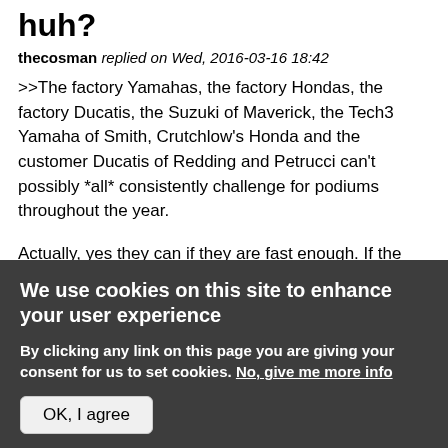huh?
thecosman replied on Wed, 2016-03-16 18:42
>>The factory Yamahas, the factory Hondas, the factory Ducatis, the Suzuki of Maverick, the Tech3 Yamaha of Smith, Crutchlow's Honda and the customer Ducatis of Redding and Petrucci can't possibly *all* consistently challenge for podiums throughout the year.
Actually, yes they can if they are fast enough. If the lead pack is 11 riders at the end of a race they all have a chance for a podium. After the flag only 3 will
We use cookies on this site to enhance your user experience
By clicking any link on this page you are giving your consent for us to set cookies. No, give me more info
OK, I agree